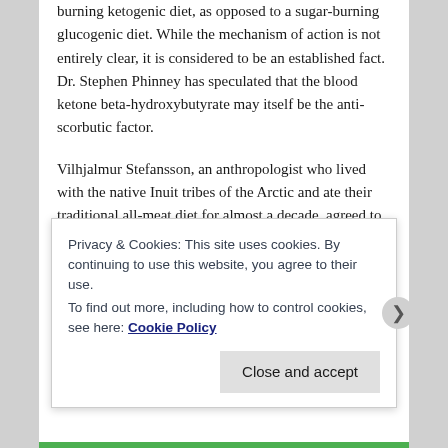burning ketogenic diet, as opposed to a sugar-burning glucogenic diet. While the mechanism of action is not entirely clear, it is considered to be an established fact. Dr. Stephen Phinney has speculated that the blood ketone beta-hydroxybutyrate may itself be the anti-scorbutic factor.
Vilhjalmur Stefansson, an anthropologist who lived with the native Inuit tribes of the Arctic and ate their traditional all-meat diet for almost a decade, agreed to spend a full year under the observation of physicians in Bellevue Hospital in New York in 1928-29 – eating nothing but meat – to prove that an all-meat diet was health-sustaining and capable of meeting all of the nutritional needs of the
Privacy & Cookies: This site uses cookies. By continuing to use this website, you agree to their use.
To find out more, including how to control cookies, see here: Cookie Policy